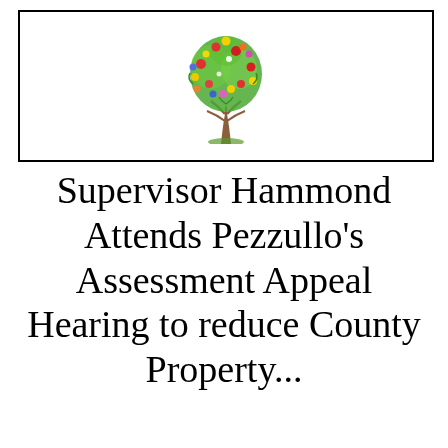[Figure (logo): Colorful illustrated tree with flowers in red, yellow, green, blue on a white background, inside a black-bordered rectangle]
Supervisor Hammond Attends Pezzullo's Assessment Appeal Hearing to reduce County Property...